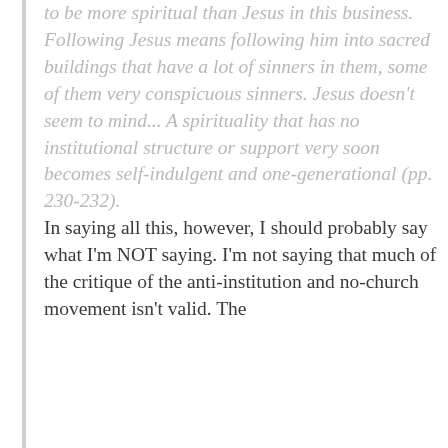to be more spiritual than Jesus in this business. Following Jesus means following him into sacred buildings that have a lot of sinners in them, some of them very conspicuous sinners. Jesus doesn't seem to mind... A spirituality that has no institutional structure or support very soon becomes self-indulgent and one-generational (pp. 230-232).
In saying all this, however, I should probably say what I'm NOT saying. I'm not saying that much of the critique of the anti-institution and no-church movement isn't valid. The